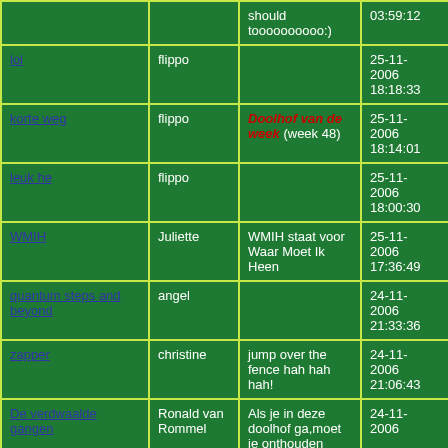| Link | Gebruiker | Omschrijving | Datum | Maat |
| --- | --- | --- | --- | --- |
|  |  | should toooooooooo:) | 03:59:12 |  |
| lol | flippo |  | 25-11-2006 18:18:33 | L |
| korte weg | flippo | Doolhof van de week (week 48) | 25-11-2006 18:14:01 | XS |
| leuk he | flippo |  | 25-11-2006 18:00:30 | XL |
| WMIH | Juliette | WMIH staat voor Waar Moet Ik Heen | 25-11-2006 17:36:49 | M |
| quantum steps and beyond | angel |  | 24-11-2006 21:33:36 | XL |
| zapper | christine | jump over the fence hah hah hah! | 24-11-2006 21:06:43 | XL |
| De verdwaalde gangen | Ronald van Rommel | Als je in deze doolhof ga,moet je onthouden | 24-11-2006 | XL |